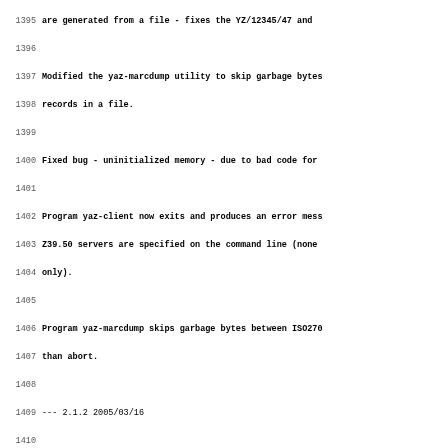Code/changelog listing lines 1395-1427 showing YAZ library changelog entries including bug fixes and version markers for versions 2.1.2 (2005/03/16) and 2.1.0 (2005/03/14)